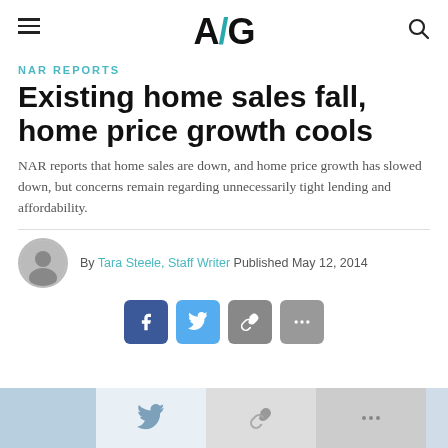AG
NAR REPORTS
Existing home sales fall, home price growth cools
NAR reports that home sales are down, and home price growth has slowed down, but concerns remain regarding unnecessarily tight lending and affordability.
By Tara Steele, Staff Writer Published May 12, 2014
[Figure (infographic): Social share buttons: Facebook, Twitter, link, more options]